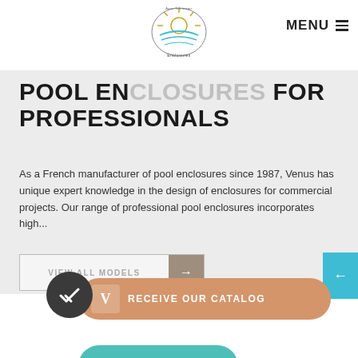MENU
POOL ENCLOSURES FOR PROFESSIONALS
As a French manufacturer of pool enclosures since 1987, Venus has unique expert knowledge in the design of enclosures for commercial projects. Our range of professional pool enclosures incorporates high...
VIEW ALL MODELS →
RECEIVE OUR CATALOG